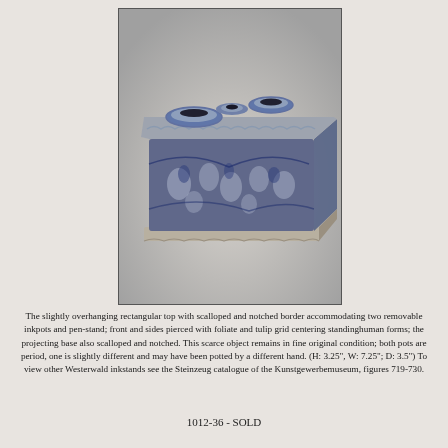[Figure (photo): A blue and white Westerwald stoneware inkstand with rectangular slightly overhanging top with scalloped and notched border, two round removable inkpots and a pen-stand on top, pierced sides with foliate and tulip grid centering standing human forms, projecting scalloped and notched base.]
The slightly overhanging rectangular top with scalloped and notched border accommodating two removable inkpots and pen-stand; front and sides pierced with foliate and tulip grid centering standinghuman forms; the projecting base also scalloped and notched. This scarce object remains in fine original condition; both pots are period, one is slightly different and may have been potted by a different hand. (H: 3.25", W: 7.25"; D: 3.5") To view other Westerwald inkstands see the Steinzeug catalogue of the Kunstgewerbemuseum, figures 719-730.
1012-36 - SOLD